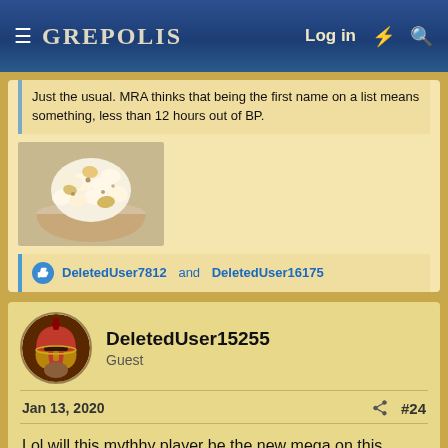GREPOLIS — Log in
Just the usual. MRA thinks that being the first name on a list means something, less than 12 hours out of BP.
[Figure (photo): A bowl of popcorn]
DeletedUser7812 and DeletedUser16175
DeletedUser15255
Guest
Jan 13, 2020  #24
Lol will this mythhy player be the new mega on this server only time will tell